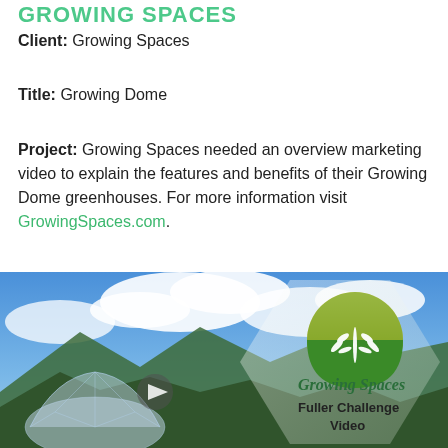GROWING SPACES
Client:  Growing Spaces
Title:  Growing Dome
Project:  Growing Spaces needed an overview marketing video to explain the features and benefits of their Growing Dome greenhouses.  For more information visit GrowingSpaces.com.
[Figure (screenshot): Video thumbnail showing Growing Dome geodesic greenhouse with blue sky and clouds in background, Growing Spaces logo (green circle with white plant leaves on yellow/green gradient), text overlay reading 'Growing Spaces Fuller Challenge Video', and a play button in the center.]